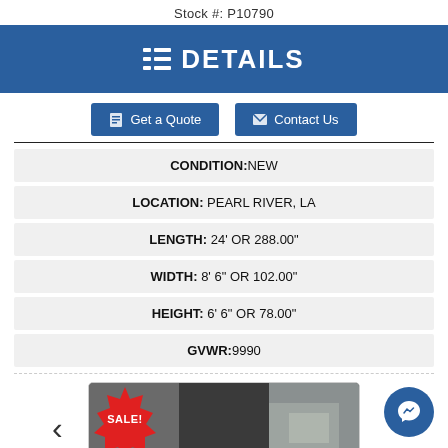Stock #: P10790
DETAILS
Get a Quote
Contact Us
| CONDITION: | NEW |
| LOCATION: | PEARL RIVER, LA |
| LENGTH: | 24' OR 288.00" |
| WIDTH: | 8' 6" OR 102.00" |
| HEIGHT: | 6' 6" OR 78.00" |
| GVWR: | 9990 |
[Figure (photo): Trailer photo with a red SALE! badge starburst in the top-left corner. The trailer appears to be a black enclosed cargo trailer.]